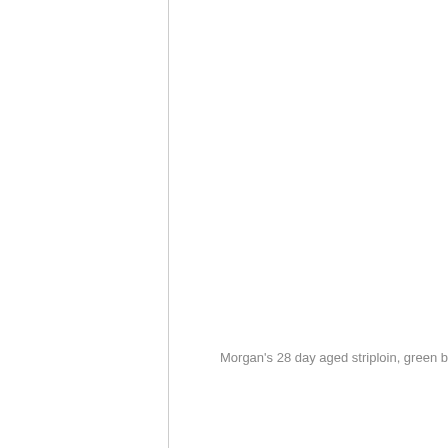Morgan's 28 day aged striploin, green b